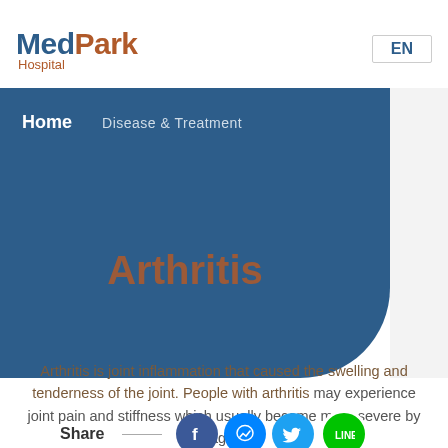MedPark Hospital
Home   Disease & Treatment
Arthritis
Arthritis is joint inflammation that caused the swelling and tenderness of the joint. People with arthritis may experience joint pain and stiffness which usually become more severe by age.
Share